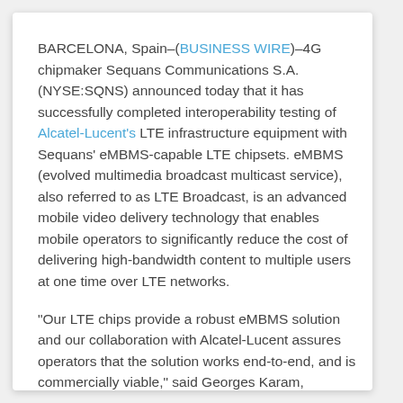BARCELONA, Spain–(BUSINESS WIRE)–4G chipmaker Sequans Communications S.A. (NYSE:SQNS) announced today that it has successfully completed interoperability testing of Alcatel-Lucent's LTE infrastructure equipment with Sequans' eMBMS-capable LTE chipsets. eMBMS (evolved multimedia broadcast multicast service), also referred to as LTE Broadcast, is an advanced mobile video delivery technology that enables mobile operators to significantly reduce the cost of delivering high-bandwidth content to multiple users at one time over LTE networks.
"Our LTE chips provide a robust eMBMS solution and our collaboration with Alcatel-Lucent assures operators that the solution works end-to-end, and is commercially viable," said Georges Karam, Sequans CEO. "We